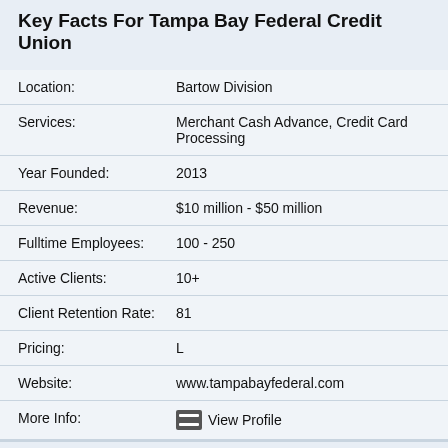Key Facts For Tampa Bay Federal Credit Union
| Field | Value |
| --- | --- |
| Location: | Bartow Division |
| Services: | Merchant Cash Advance, Credit Card Processing |
| Year Founded: | 2013 |
| Revenue: | $10 million - $50 million |
| Fulltime Employees: | 100 - 250 |
| Active Clients: | 10+ |
| Client Retention Rate: | 81 |
| Pricing: | L |
| Website: | www.tampabayfederal.com |
| More Info: | View Profile |
POSITIVE   33.3%